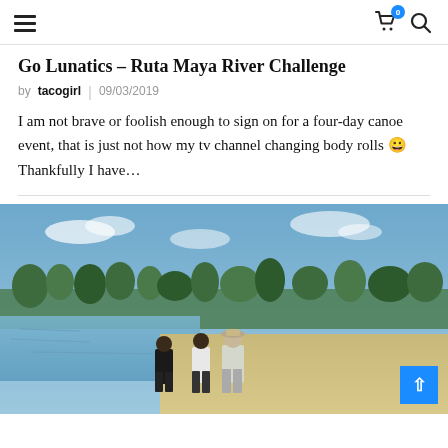navigation header with hamburger menu, cart icon (0 items), and search icon
Go Lunatics – Ruta Maya River Challenge
by tacogirl | 09/03/2019
I am not brave or foolish enough to sign on for a four-day canoe event, that is just not how my tv channel changing body rolls 😀 Thankfully I have…
[Figure (photo): Outdoor photo showing three people walking along a sandy riverbank toward a calm river, with trees and blue sky in the background. A blue back-to-top button is visible in the bottom right corner.]